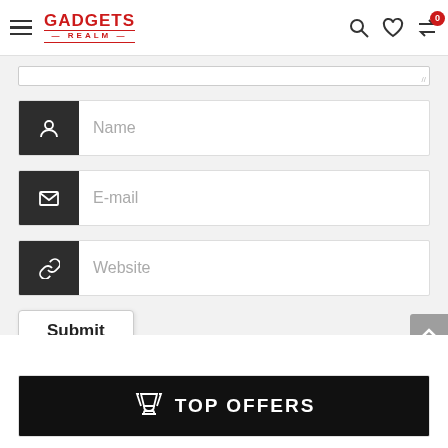Gadgets Realm — navigation bar with hamburger menu, logo, search, wishlist, compare icons
[Figure (screenshot): Partial textarea input at top of form section]
[Figure (screenshot): Form with Name, E-mail, Website input fields with dark icon prefixes]
Submit
[Figure (screenshot): Top Offers banner with trophy icon on black background]